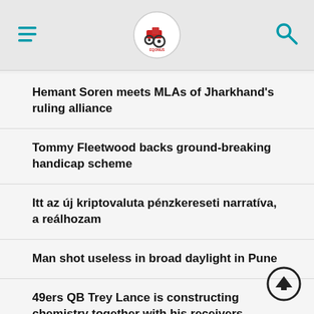[Logo / Navigation bar with menu icon, logo, and search icon]
Hemant Soren meets MLAs of Jharkhand's ruling alliance
Tommy Fleetwood backs ground-breaking handicap scheme
Itt az új kriptovaluta pénzkereseti narratíva, a reálhozam
Man shot useless in broad daylight in Pune
49ers QB Trey Lance is constructing chemistry together with his receivers